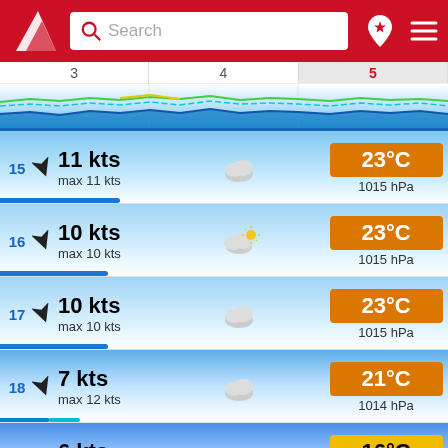[Figure (screenshot): App header with red background, logo, search bar, location pin and menu icons]
[Figure (continuous-plot): Wind/weather chart showing colored wave lines (green, cyan, blue) over a blue gradient background with day columns 3, 4, 5]
15  11 kts  max 11 kts  [cloud icon]  23°C  1015 hPa
16  10 kts  max 10 kts  [partly sunny icon]  23°C  1015 hPa
17  10 kts  max 10 kts  [cloud icon]  23°C  1015 hPa
18  7 kts  max 12 kts  [cloud icon]  21°C  1014 hPa
19  6 kts  max 16 kts  [cloud icon]  16°C  1014 hPa